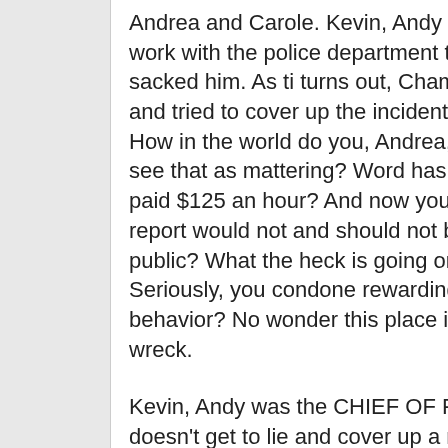Andrea and Carole. Kevin, Andy would have to work with the police department that effectively sacked him. As ti turns out, Chambers LIED and tried to cover up the incident with his son. How in the world do you, Andrea, Carole not see that as mattering? Word has it, he's getting paid $125 an hour? And now you say the report would not and should not be made public? What the heck is going on here? Seriously, you condone rewarding bad behavior? No wonder this place is like a train wreck.
Kevin, Andy was the CHIEF OF POLICE. He doesn't get to lie and cover up a mistake. If he had simply owed up to it, then yes, I'd say he would have been shown